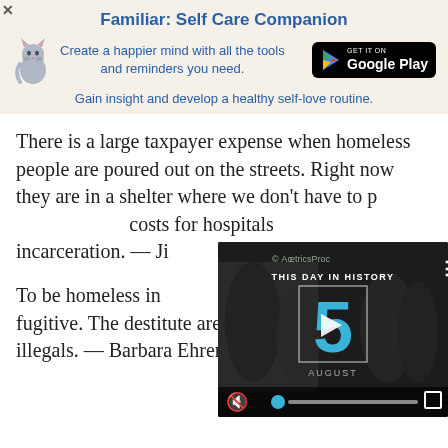[Figure (infographic): Advertisement banner for 'Familiar: Self Care Companion' app with cat illustration and Google Play button]
There is a large taxpayer expense when homeless people are poured out on the streets. Right now they are in a shelter where we don't have to pay for the enormous costs for hospitals, police, courts, and incarceration. — Ji...
[Figure (screenshot): Video player overlay showing 'THIS DAY IN HISTORY' with number 5 and AUGUST label, with playback controls and mute button]
To be homeless in America is to be a fugitive. The destitute are our own native-born illegals. — Barbara Ehrenreich